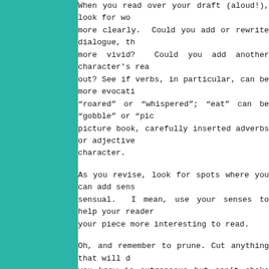When you read over your draft (aloud!), look for wo more clearly.  Could you add or rewrite dialogue, th more vivid?  Could you add another character's rea out? See if verbs, in particular, can be more evocati “roared” or “whispered”; “eat” can be “gobble” or “pic picture book, carefully inserted adverbs or adjective character.
As you revise, look for spots where you can add sens sensual.  I mean, use your senses to help your reader your piece more interesting to read.
Oh, and remember to prune. Cut anything that will d you know is extraneous but can’t shake your crush o perfect for.
--Jane Sutton
* * * *
Jane's latest book, DON'T CALL ME SIDNEY (Dial